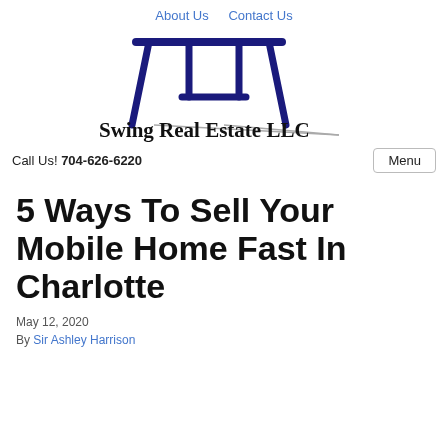About Us   Contact Us
[Figure (logo): Swing Real Estate LLC logo: stylized swing set frame in dark navy blue with a grey shadow/ground line, above bold serif text 'Swing Real Estate LLC']
Call Us! 704-626-6220
Menu
5 Ways To Sell Your Mobile Home Fast In Charlotte
May 12, 2020
By Sir Ashley Harrison